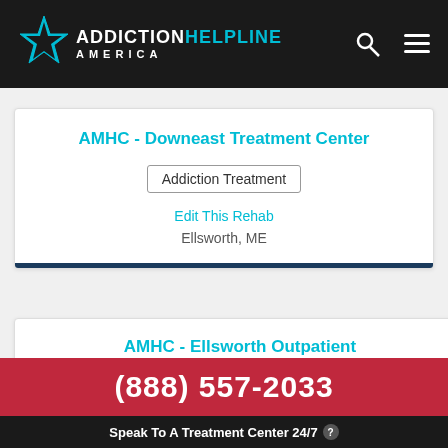[Figure (logo): Addiction Helpline America logo with teal star and text on black header bar]
AMHC - Downeast Treatment Center
Addiction Treatment
Edit This Rehab
Ellsworth, ME
AMHC - Ellsworth Outpatient
(888) 557-2033
Speak To A Treatment Center 24/7